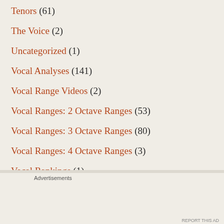Tenors (61)
The Voice (2)
Uncategorized (1)
Vocal Analyses (141)
Vocal Range Videos (2)
Vocal Ranges: 2 Octave Ranges (53)
Vocal Ranges: 3 Octave Ranges (80)
Vocal Ranges: 4 Octave Ranges (3)
Vocal Rankings (1)
Vocal Tips For K-pop Fans (28)
Advertisements
[Figure (other): WordPress advertisement banner: 'Opinions. We all have them!' with WordPress and WordAds logos on dark navy background]